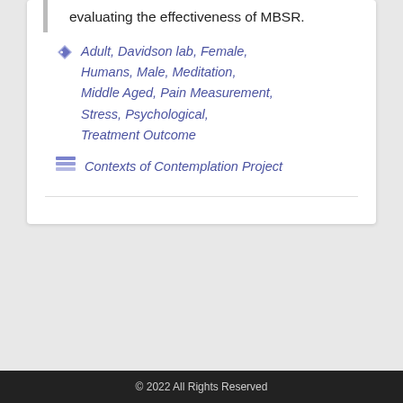evaluating the effectiveness of MBSR.
Adult, Davidson lab, Female, Humans, Male, Meditation, Middle Aged, Pain Measurement, Stress, Psychological, Treatment Outcome
Contexts of Contemplation Project
© 2022 All Rights Reserved